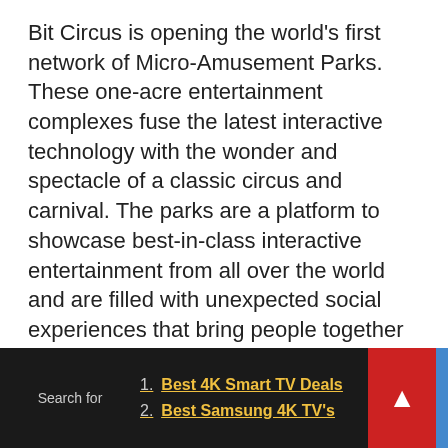Bit Circus is opening the world's first network of Micro-Amusement Parks. These one-acre entertainment complexes fuse the latest interactive technology with the wonder and spectacle of a classic circus and carnival. The parks are a platform to showcase best-in-class interactive entertainment from all over the world and are filled with unexpected social experiences that bring people together elbow-to-elbow to play, eat, drink, and generally experience life at the highest resolution.
For more information, visit www.twobitcircus.com or follow @TwoBitCircus and #TwoBitCircus
About Newegg
1. Best 4K Smart TV Deals
2. Best Samsung 4K TV's